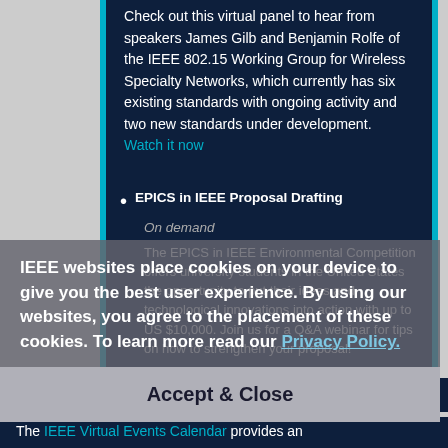Check out this virtual panel to hear from speakers James Gilb and Benjamin Rolfe of the IEEE 802.15 Working Group for Wireless Specialty Networks, which currently has six existing standards with ongoing activity and two new standards under development.
Watch it now
EPICS in IEEE Proposal Drafting
On demand
The EPICS in IEEE Environmental Competition offers university students in the United States the opportunity to put their ideas and technological innovations into action with up to US $10,000. Join us for a Q&A webinar for tips on how to strengthen your proposal!
Watch it now
IEEE websites place cookies on your device to give you the best user experience. By using our websites, you agree to the placement of these cookies. To learn more read our Privacy Policy.
Accept & Close
IEEE Virtual Events Calendar
The IEEE Virtual Events Calendar provides an